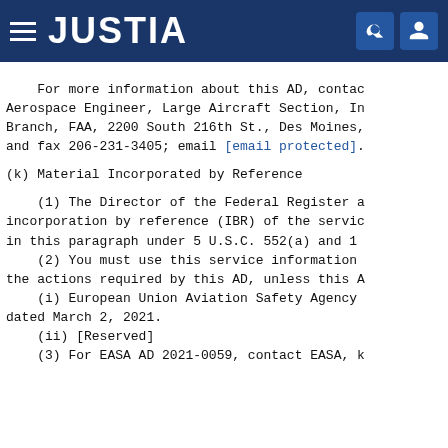JUSTIA
For more information about this AD, contact Aerospace Engineer, Large Aircraft Section, In Branch, FAA, 2200 South 216th St., Des Moines, and fax 206-231-3405; email [email protected].
(k) Material Incorporated by Reference
(1) The Director of the Federal Register a incorporation by reference (IBR) of the servic in this paragraph under 5 U.S.C. 552(a) and 1
(2) You must use this service information the actions required by this AD, unless this A
(i) European Union Aviation Safety Agency dated March 2, 2021.
(ii) [Reserved]
(3) For EASA AD 2021-0059, contact EASA, k